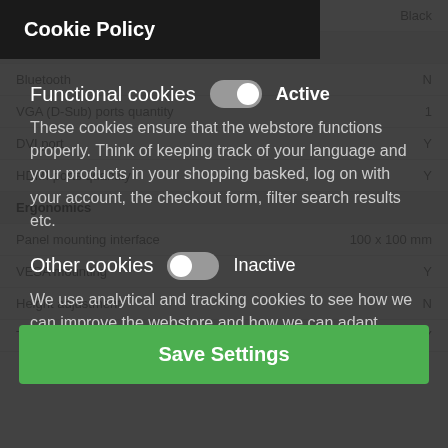| Property | Value |
| --- | --- |
| Product colour | Black |
| Ports & interfaces |  |
| Bluetooth | N |
| VGA (D-Sub) ports quantity | 1 |
| DVI port | Y |
| HDMI ports quantity | Y |
| Ergonomics |  |
| Panel mounting interface | 100 x 100 mm |
| VESA mounting | Y |
| Height adjustment | N |
| Tiltable | Y |
Cookie Policy
Functional cookies
Active
These cookies ensure that the webstore functions properly. Think of keeping track of your language and your products in your shopping basked, log on with your account, the checkout form, filter search results etc.
Other cookies
Inactive
We use analytical and tracking cookies to see how we can improve the webstore and how we can adapt content and potential advertisements to your preference.
Save Settings